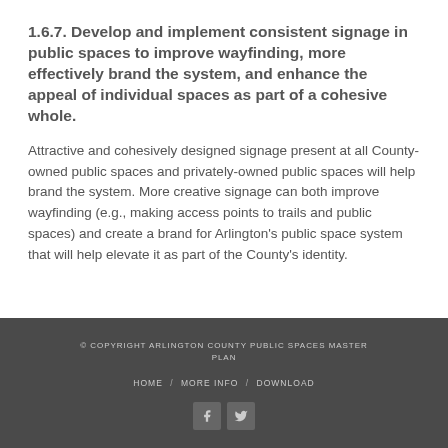1.6.7. Develop and implement consistent signage in public spaces to improve wayfinding, more effectively brand the system, and enhance the appeal of individual spaces as part of a cohesive whole.
Attractive and cohesively designed signage present at all County-owned public spaces and privately-owned public spaces will help brand the system. More creative signage can both improve wayfinding (e.g., making access points to trails and public spaces) and create a brand for Arlington's public space system that will help elevate it as part of the County's identity.
© COPYRIGHT ARLINGTON COUNTY PUBLIC SPACES MASTER PLAN
HOME / MORE INFO / DOWNLOAD